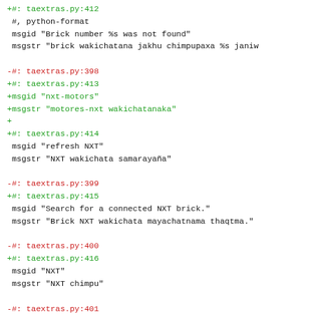+#: taextras.py:412
 #, python-format
 msgid "Brick number %s was not found"
 msgstr "brick wakichatana jakhu chimpupaxa %s janiw"

-#: taextras.py:398
+#: taextras.py:413
+msgid "nxt-motors"
+msgstr "motores-nxt wakichatanaka"
+
+#: taextras.py:414
 msgid "refresh NXT"
 msgstr "NXT wakichata samarayaña"

-#: taextras.py:399
+#: taextras.py:415
 msgid "Search for a connected NXT brick."
 msgstr "Brick NXT wakichata mayachatnama thaqtma."

-#: taextras.py:400
+#: taextras.py:416
 msgid "NXT"
 msgstr "NXT chimpu"

-#: taextras.py:401
+#: taextras.py:417
 msgid "set current NXT device"
 msgstr "NXT jichha chimpuni wakichata wakichma"

-#: taextras.py:402